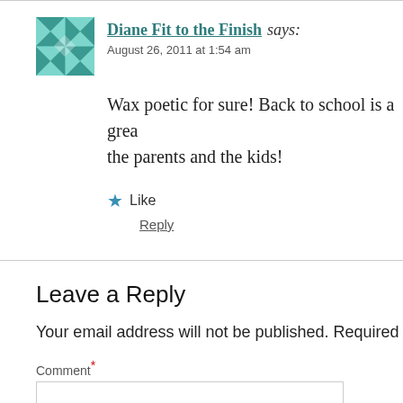Diane Fit to the Finish says: August 26, 2011 at 1:54 am
Wax poetic for sure! Back to school is a great time for the parents and the kids!
★ Like
Reply
Leave a Reply
Your email address will not be published. Required
Comment *